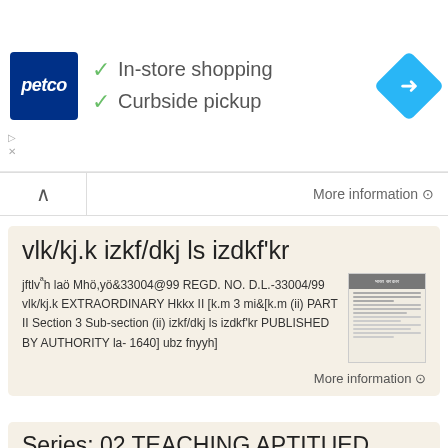[Figure (screenshot): Petco ad banner with logo, In-store shopping and Curbside pickup checkmarks, and navigation diamond icon]
More information →
vlk/kj.k izkf/dkj ls izdkf'kr
jftlvªh laö Mhö,yö&33004@99 REGD. NO. D.L.-33004/99 vlk/kj.k EXTRAORDINARY Hkkx II [k.m 3 mi&[k.m (ii) PART II Section 3 Sub-section (ii) izkf/dkj ls izdkf'kr PUBLISHED BY AUTHORITY la- 1640] ubz fnyyh]
More information →
Series: 02 TEACHING APTITUED
Series: 02 TEACHING APTITUED 1. The effect of fear and punishment can make the 6. If a student does not work honestly then